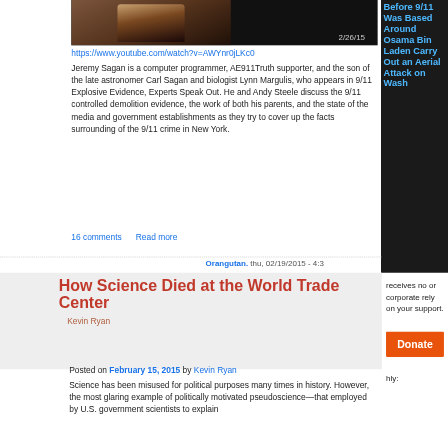[Figure (photo): Video thumbnail showing a person with timestamp 2/26/15 on dark background]
https://www.youtube.com/watch?v=AWYnr0jLKc0
Jeremy Sagan is a computer programmer, AE911Truth supporter, and the son of the late astronomer Carl Sagan and biologist Lynn Margulis, who appears in 9/11 Explosive Evidence, Experts Speak Out. He and Andy Steele discuss the 9/11 controlled demolition evidence, the work of both his parents, and the state of the media and government establishments as they try to cover up the facts surrounding of the 9/11 crime in New York.
16 comments   Read more
Orangutan. thu, 02/19/2015 - 4:3
How Science Died at the World Trade Center
Kevin Ryan
Posted on February 15, 2015 by Kevin Ryan
Science has been misused for political purposes many times in history. However, the most glaring example of politically motivated pseudoscience—that employed by U.S. government scientists to explain
receives no or corporate rely on your support.
Donate
hly:
Before 9/11 Was Based Around Osama Bin Laden Carry Out an Aerial Attack on Wash